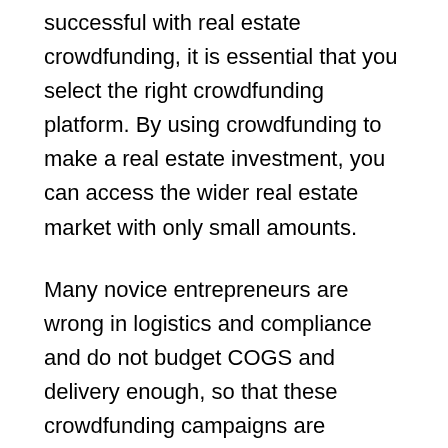successful with real estate crowdfunding, it is essential that you select the right crowdfunding platform. By using crowdfunding to make a real estate investment, you can access the wider real estate market with only small amounts.
Many novice entrepreneurs are wrong in logistics and compliance and do not budget COGS and delivery enough, so that these crowdfunding campaigns are successful and ultimately lose money. The results of the crowdfunding campaign show whether your project will be successful in the long term. Another drawback of crowdfunding investing is that this type of investment is considered an illiquid investment.